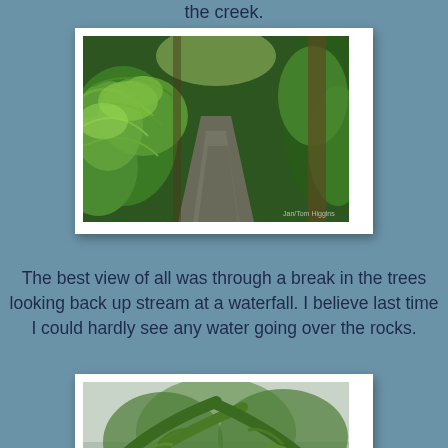the creek.
[Figure (photo): A lush rainforest walking path surrounded by ferns and dense green tropical vegetation, with a paved path leading into the distance.]
The best view of all was through a break in the trees looking back up stream at a waterfall. I believe last time I could hardly see any water going over the rocks.
[Figure (photo): Looking up through large tree fern fronds toward an overcast sky, with green tropical forest below.]